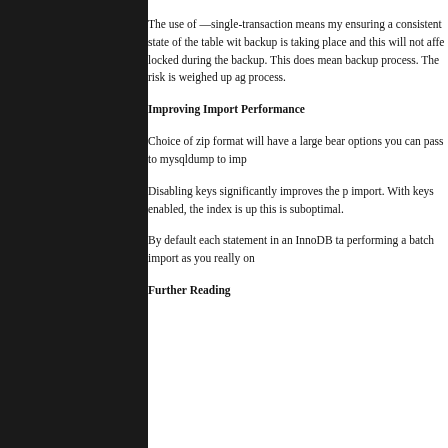The use of —single-transaction means my ensuring a consistent state of the table with backup is taking place and this will not affe locked during the backup. This does mean backup process. The risk is weighed up ag process.
Improving Import Performance
Choice of zip format will have a large bear options you can pass to mysqldump to imp
Disabling keys significantly improves the p import. With keys enabled, the index is up this is suboptimal.
By default each statement in an InnoDB ta performing a batch import as you really on
Further Reading